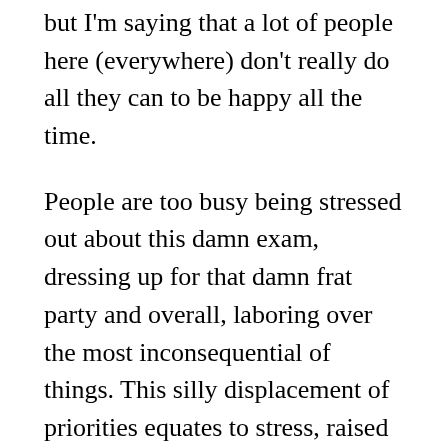but I'm saying that a lot of people here (everywhere) don't really do all they can to be happy all the time.
People are too busy being stressed out about this damn exam, dressing up for that damn frat party and overall, laboring over the most inconsequential of things. This silly displacement of priorities equates to stress, raised expectations and ultimately, a sacrifice of some degree of happiness. Yet isn't enduring happiness the goal of human existence?
If so (and I believe it is), then worrying about issues that will eventually die is both sad and